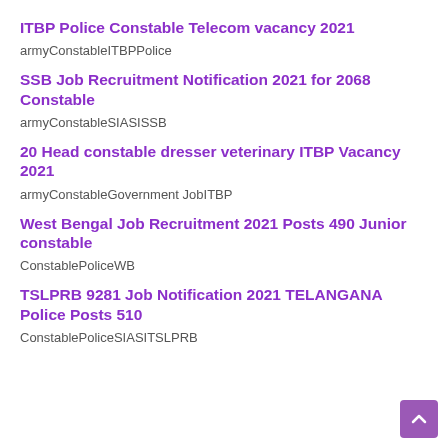ITBP Police Constable Telecom vacancy 2021
armyConstableITBPPolice
SSB Job Recruitment Notification 2021 for 2068 Constable
armyConstableSIASISSB
20 Head constable dresser veterinary ITBP Vacancy 2021
armyConstableGovernment JobITBP
West Bengal Job Recruitment 2021 Posts 490 Junior constable
ConstablePoliceWB
TSLPRB 9281 Job Notification 2021 TELANGANA Police Posts 510
ConstablePoliceSIASITSLPRB